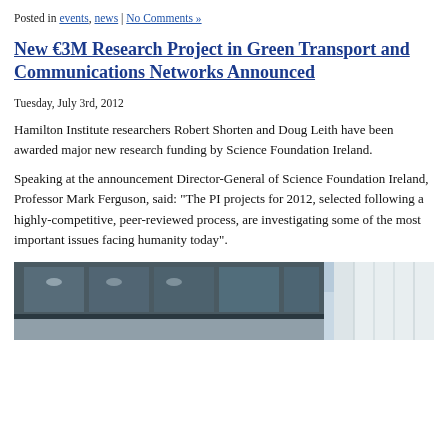Posted in events, news | No Comments »
New €3M Research Project in Green Transport and Communications Networks Announced
Tuesday, July 3rd, 2012
Hamilton Institute researchers Robert Shorten and Doug Leith have been awarded major new research funding by Science Foundation Ireland.
Speaking at the announcement Director-General of Science Foundation Ireland, Professor Mark Ferguson, said: “The PI projects for 2012, selected following a highly-competitive, peer-reviewed process, are investigating some of the most important issues facing humanity today”.
[Figure (photo): Exterior photo of a modern building with glass facade and white panels, taken from a low angle showing the upper floors against the sky.]